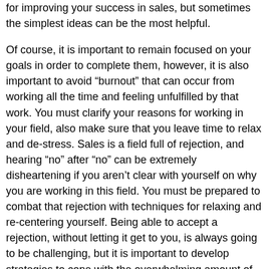for improving your success in sales, but sometimes the simplest ideas can be the most helpful.
Of course, it is important to remain focused on your goals in order to complete them, however, it is also important to avoid “burnout” that can occur from working all the time and feeling unfulfilled by that work. You must clarify your reasons for working in your field, also make sure that you leave time to relax and de-stress. Sales is a field full of rejection, and hearing “no” after “no” can be extremely disheartening if you aren’t clear with yourself on why you are working in this field. You must be prepared to combat that rejection with techniques for relaxing and re-centering yourself. Being able to accept a rejection, without letting it get to you, is always going to be challenging, but it is important to develop strategies to cope with the overwhelming amount of rejections that you will receive throughout the course of your career as a salesperson.
In addition, you can improve your sales success by